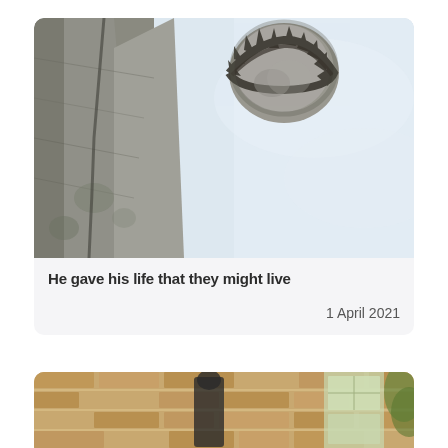[Figure (photo): Close-up photo of a stone statue of Jesus Christ with crown of thorns, viewed from below against a pale blue-grey sky. The statue shows detailed stonework on the body and the thorned crown clearly visible at the top.]
He gave his life that they might live
1 April 2021
[Figure (photo): Partial view of a second article card showing an outdoor scene with brick building and people, cropped at the bottom of the page.]